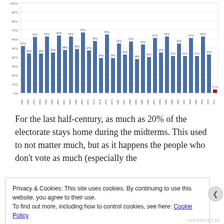[Figure (bar-chart): Voter turnout by election year]
For the last half-century, as much as 20% of the electorate stays home during the midterms. This used to not matter much, but as it happens the people who don't vote as much (especially the
Privacy & Cookies: This site uses cookies. By continuing to use this website, you agree to their use.
To find out more, including how to control cookies, see here: Cookie Policy